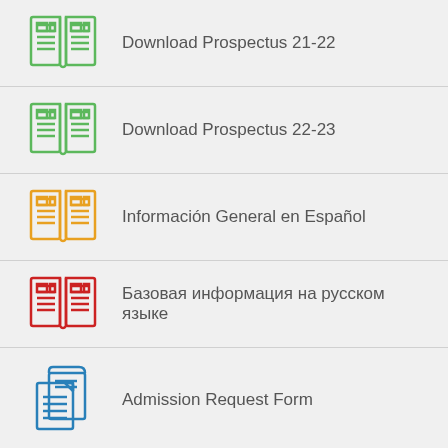Download Prospectus 21-22
Download Prospectus 22-23
Información General en Español
Базовая информация на русском языке
Admission Request Form